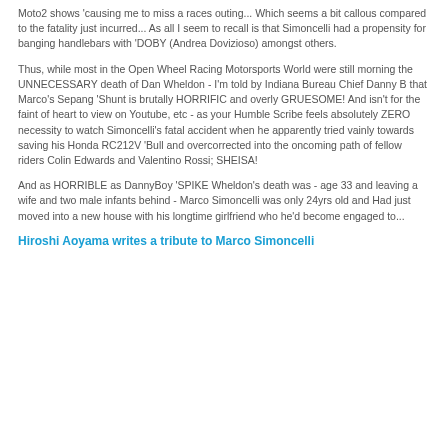Moto2 shows 'causing me to miss a races outing... Which seems a bit callous compared to the fatality just incurred... As all I seem to recall is that Simoncelli had a propensity for banging handlebars with 'DOBY (Andrea Dovizioso) amongst others.
Thus, while most in the Open Wheel Racing Motorsports World were still morning the UNNECESSARY death of Dan Wheldon - I'm told by Indiana Bureau Chief Danny B that Marco's Sepang 'Shunt is brutally HORRIFIC and overly GRUESOME! And isn't for the faint of heart to view on Youtube, etc - as your Humble Scribe feels absolutely ZERO necessity to watch Simoncelli's fatal accident when he apparently tried vainly towards saving his Honda RC212V 'Bull and overcorrected into the oncoming path of fellow riders Colin Edwards and Valentino Rossi; SHEISA!
And as HORRIBLE as DannyBoy 'SPIKE Wheldon's death was - age 33 and leaving a wife and two male infants behind - Marco Simoncelli was only 24yrs old and Had just moved into a new house with his longtime girlfriend who he'd become engaged to...
Hiroshi Aoyama writes a tribute to Marco Simoncelli